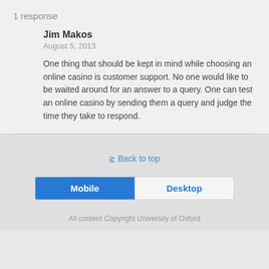1 response
Jim Makos
August 5, 2013
One thing that should be kept in mind while choosing an online casino is customer support. No one would like to be waited around for an answer to a query. One can test an online casino by sending them a query and judge the time they take to respond.
Back to top
Mobile   Desktop
All content Copyright University of Oxford